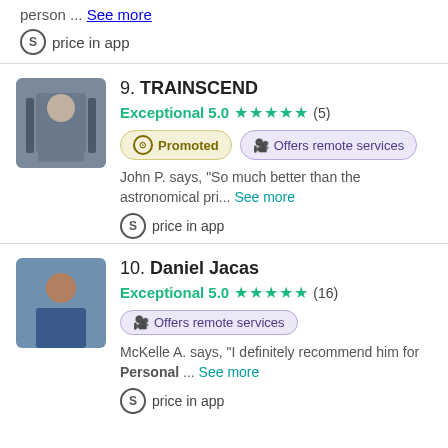person ... See more
price in app
9. TRAINSCEND
Exceptional 5.0 ★★★★★ (5)
Promoted
Offers remote services
John P. says, "So much better than the astronomical pri... See more"
price in app
10. Daniel Jacas
Exceptional 5.0 ★★★★★ (16)
Offers remote services
McKelle A. says, "I definitely recommend him for Personal ... See more"
price in app